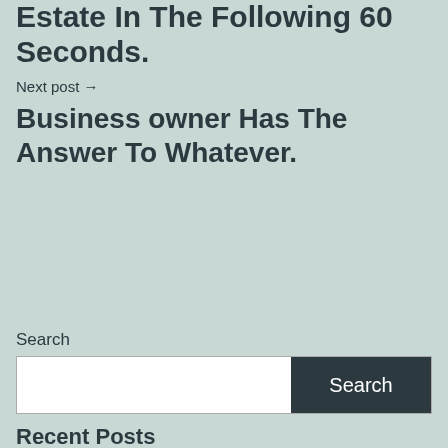Estate In The Following 60 Seconds.
Next post →
Business owner Has The Answer To Whatever.
Search
Search
Recent Posts